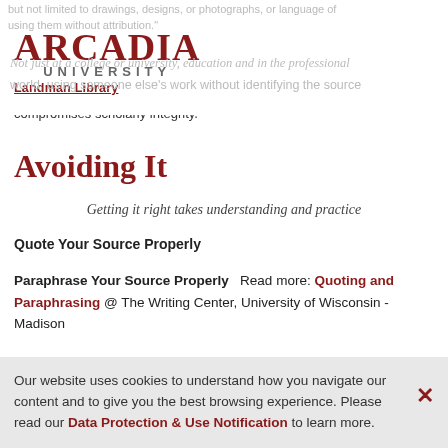ARCADIA UNIVERSITY Landman Library
but not limited to drawings, designs, or photographs, or language of using them without attribution. Not just at a college or university, education and in the professional world, using someone else's work without identifying the source compromises scholarly integrity.
Avoiding It
Getting it right takes understanding and practice
Quote Your Source Properly
Paraphrase Your Source Properly   Read more: Quoting and Paraphrasing @ The Writing Center, University of Wisconsin - Madison
Our website uses cookies to understand how you navigate our content and to give you the best browsing experience. Please read our Data Protection & Use Notification to learn more.